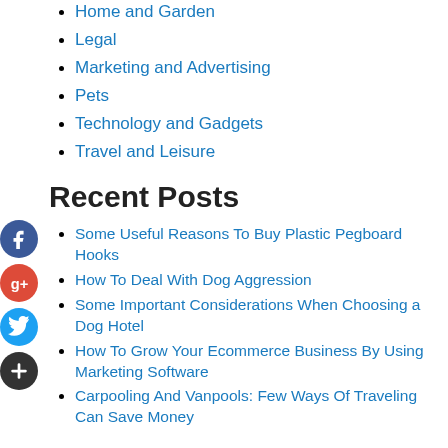Home and Garden
Legal
Marketing and Advertising
Pets
Technology and Gadgets
Travel and Leisure
Recent Posts
Some Useful Reasons To Buy Plastic Pegboard Hooks
How To Deal With Dog Aggression
Some Important Considerations When Choosing a Dog Hotel
How To Grow Your Ecommerce Business By Using Marketing Software
Carpooling And Vanpools: Few Ways Of Traveling Can Save Money